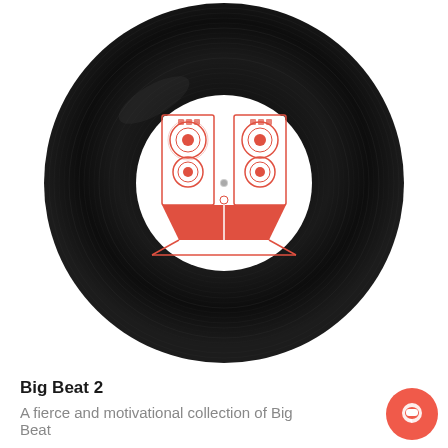[Figure (illustration): A vinyl record with grooved black surface and a white center label featuring a red illustration of two large speakers with a person standing between them on a red triangular base. A small center spindle hole is visible.]
Big Beat 2
A fierce and motivational collection of Big Beat